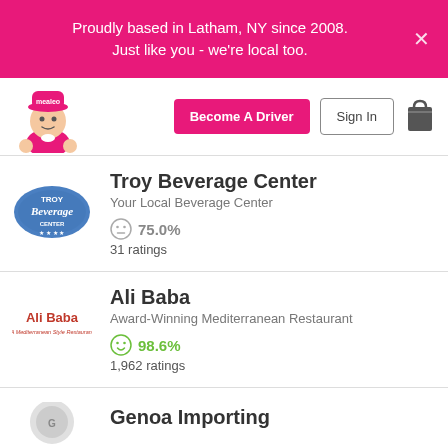Proudly based in Latham, NY since 2008.
Just like you - we're local too.
[Figure (logo): Mealeo delivery mascot logo — cartoon character wearing a pink shirt and hat with 'mealeo' text]
Become A Driver
Sign In
[Figure (other): Shopping bag icon]
[Figure (logo): Troy Beverage Center oval blue logo]
Troy Beverage Center
Your Local Beverage Center
75.0%
31 ratings
[Figure (logo): Ali Baba - A Mediterranean Style Restaurant logo in dark red text]
Ali Baba
Award-Winning Mediterranean Restaurant
98.6%
1,962 ratings
Genoa Importing